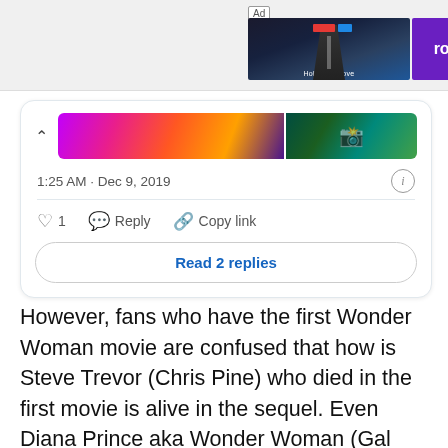[Figure (screenshot): Ad banner with game advertisement showing rollic logo and 'They Are Com' text]
[Figure (screenshot): Twitter/social media reply card showing timestamp 1:25 AM · Dec 9, 2019, with like, reply, copy link actions and a collapsed image strip, and Read 2 replies button]
However, fans who have the first Wonder Woman movie are confused that how is Steve Trevor (Chris Pine) who died in the first movie is alive in the sequel. Even Diana Prince aka Wonder Woman (Gal Gadot) is confused that how her love Steve is back from the dead! Here are the possible explanations of how Steve Trevor is alive in Wonder Woman 1984 by the spoiler-filled leaks.